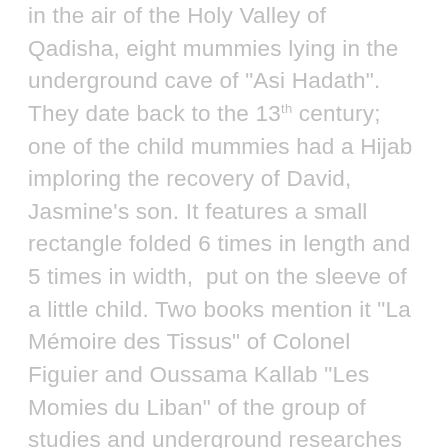in the air of the Holy Valley of Qadisha, eight mummies lying in the underground cave of "Asi Hadath". They date back to the 13th century; one of the child mummies had a Hijab imploring the recovery of David, Jasmine's son. It features a small rectangle folded 6 times in length and 5 times in width, put on the sleeve of a little child. Two books mention it "La Mémoire des Tissus" of Colonel Figuier and Oussama Kallab "Les Momies du Liban" of the group of studies and underground researches of Lebanon. The "Hijab" is still in use until today. It is distributed in different Christian monasteries and by some Muslim sheikhs. For the religious, the "Hijab"